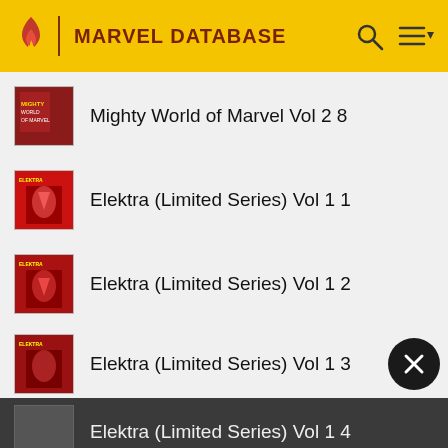MARVEL DATABASE
Mighty World of Marvel Vol 2 8
Elektra (Limited Series) Vol 1 1
Elektra (Limited Series) Vol 1 2
Elektra (Limited Series) Vol 1 3
Elektra (Limited Series) Vol 1 4
Marvel Fanfare Vol 1 18
Daredevil Vol 1 219